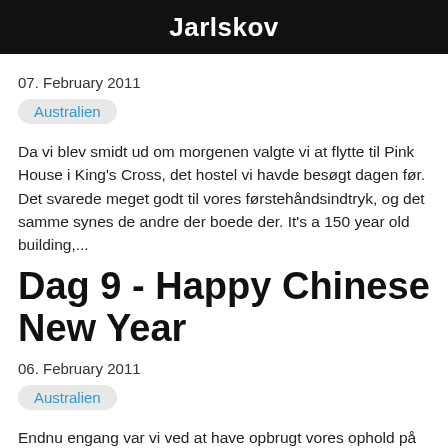Jarlskov
07. February 2011
Australien
Da vi blev smidt ud om morgenen valgte vi at flytte til Pink House i King's Cross, det hostel vi havde besøgt dagen før. Det svarede meget godt til vores førstehåndsindtryk, og det samme synes de andre der boede der. It's a 150 year old building,...
Dag 9 - Happy Chinese New Year
06. February 2011
Australien
Endnu engang var vi ved at have opbrugt vores ophold på